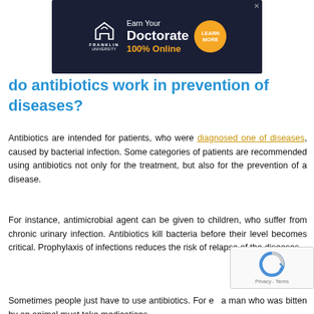[Figure (other): Franklin University advertisement banner: Earn Your Doctorate 100% Online with Learn More button]
do antibiotics work in prevention of diseases?
Antibiotics are intended for patients, who were diagnosed one of diseases, caused by bacterial infection. Some categories of patients are recommended using antibiotics not only for the treatment, but also for the prevention of a disease.
For instance, antimicrobial agent can be given to children, who suffer from chronic urinary infection. Antibiotics kill bacteria before their level becomes critical. Prophylaxis of infections reduces the risk of relapse of the diseases.
Sometimes people just have to use antibiotics. For e... a man who was bitten by an animal must take medications.